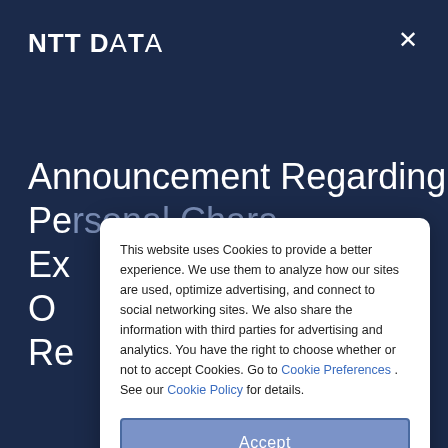[Figure (screenshot): NTT DATA website screenshot with dark navy blue background showing partial announcement title text]
Announcement Regarding Pe... Ex... O... Re...
This website uses Cookies to provide a better experience. We use them to analyze how our sites are used, optimize advertising, and connect to social networking sites. We also share the information with third parties for advertising and analytics. You have the right to choose whether or not to accept Cookies. Go to Cookie Preferences . See our Cookie Policy for details.
Accept